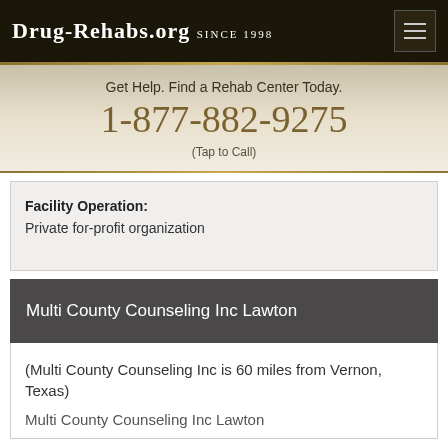Drug-Rehabs.org Since 1998
Get Help. Find a Rehab Center Today.
1-877-882-9275
(Tap to Call)
Facility Operation:
Private for-profit organization
Multi County Counseling Inc Lawton
(Multi County Counseling Inc is 60 miles from Vernon, Texas)
Multi County Counseling Inc Lawton